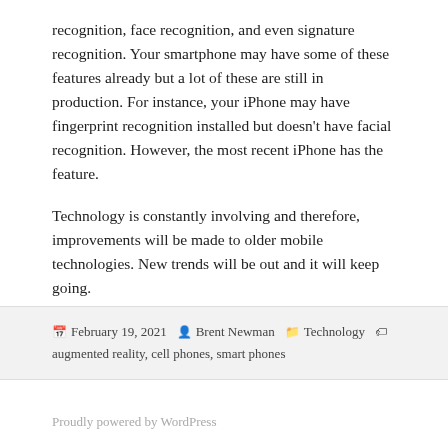recognition, face recognition, and even signature recognition. Your smartphone may have some of these features already but a lot of these are still in production. For instance, your iPhone may have fingerprint recognition installed but doesn't have facial recognition. However, the most recent iPhone has the feature.
Technology is constantly involving and therefore, improvements will be made to older mobile technologies. New trends will be out and it will keep going.
February 19, 2021  Brent Newman  Technology  augmented reality, cell phones, smart phones
Proudly powered by WordPress